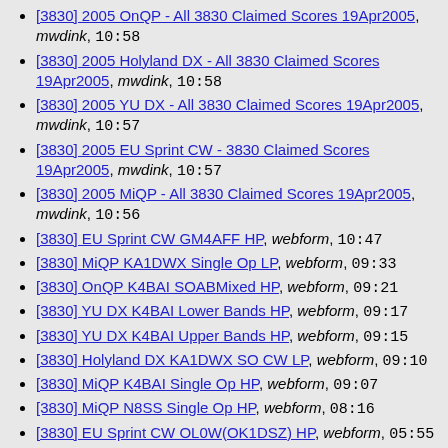[3830] 2005 OnQP - All 3830 Claimed Scores 19Apr2005, mwdink, 10:58
[3830] 2005 Holyland DX - All 3830 Claimed Scores 19Apr2005, mwdink, 10:58
[3830] 2005 YU DX - All 3830 Claimed Scores 19Apr2005, mwdink, 10:57
[3830] 2005 EU Sprint CW - 3830 Claimed Scores 19Apr2005, mwdink, 10:57
[3830] 2005 MiQP - All 3830 Claimed Scores 19Apr2005, mwdink, 10:56
[3830] EU Sprint CW GM4AFF HP, webform, 10:47
[3830] MiQP KA1DWX Single Op LP, webform, 09:33
[3830] OnQP K4BAI SOABMixed HP, webform, 09:21
[3830] YU DX K4BAI Lower Bands HP, webform, 09:17
[3830] YU DX K4BAI Upper Bands HP, webform, 09:15
[3830] Holyland DX KA1DWX SO CW LP, webform, 09:10
[3830] MiQP K4BAI Single Op HP, webform, 09:07
[3830] MiQP N8SS Single Op HP, webform, 08:16
[3830] EU Sprint CW OL0W(OK1DSZ) HP, webform, 05:55
Re: [3830] 3830 Digest, Vol 28, Issue 54, john ojiambo, 01:59
[3830] Holyland DX LY2OX SO CW HP, webform, 00:41
[3830] MiQP NE9U Mobile Multi-Op LP, webform